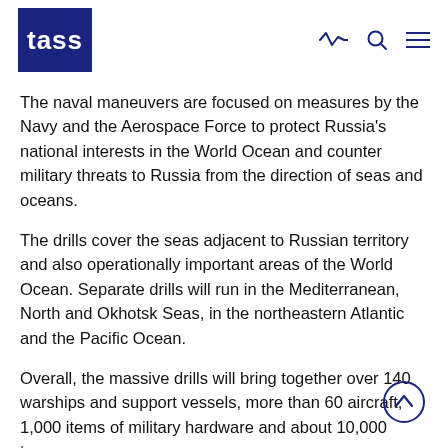TASS
The naval maneuvers are focused on measures by the Navy and the Aerospace Force to protect Russia's national interests in the World Ocean and counter military threats to Russia from the direction of seas and oceans.
The drills cover the seas adjacent to Russian territory and also operationally important areas of the World Ocean. Separate drills will run in the Mediterranean, North and Okhotsk Seas, in the northeastern Atlantic and the Pacific Ocean.
Overall, the massive drills will bring together over 140 warships and support vessels, more than 60 aircraft, 1,000 items of military hardware and about 10,000 troops.
TAGS
Foreign policy   Military drills